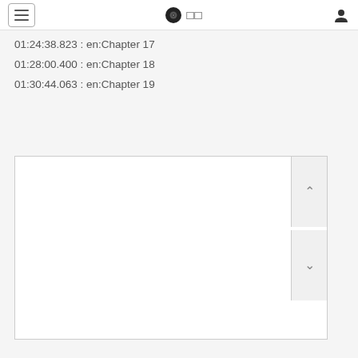≡  □□  👤
01:24:38.823 : en:Chapter 17
01:28:00.400 : en:Chapter 18
01:30:44.063 : en:Chapter 19
[Figure (screenshot): A white rectangular content box with scroll up and scroll down chevron buttons on the right side]